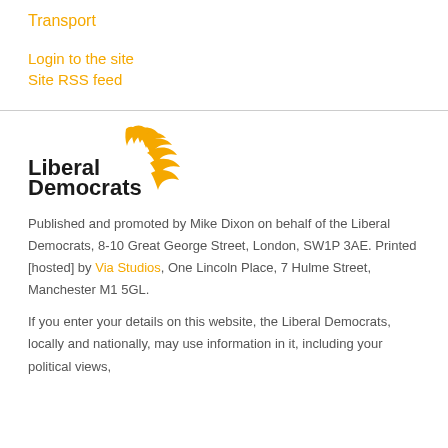Transport
Login to the site
Site RSS feed
[Figure (logo): Liberal Democrats logo with golden bird/phoenix symbol and bold black text reading 'Liberal Democrats']
Published and promoted by Mike Dixon on behalf of the Liberal Democrats, 8-10 Great George Street, London, SW1P 3AE. Printed [hosted] by Via Studios, One Lincoln Place, 7 Hulme Street, Manchester M1 5GL.
If you enter your details on this website, the Liberal Democrats, locally and nationally, may use information in it, including your political views,